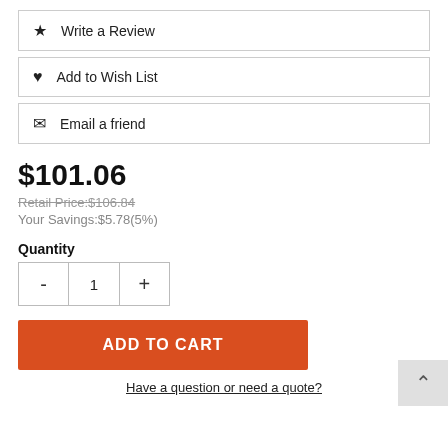Write a Review
Add to Wish List
Email a friend
$101.06
Retail Price:$106.84
Your Savings:$5.78(5%)
Quantity
- 1 +
ADD TO CART
Have a question or need a quote?